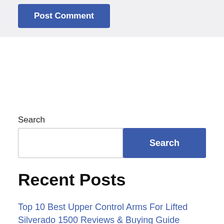Post Comment
Search
Search
Recent Posts
Top 10 Best Upper Control Arms For Lifted Silverado 1500 Reviews & Buying Guide